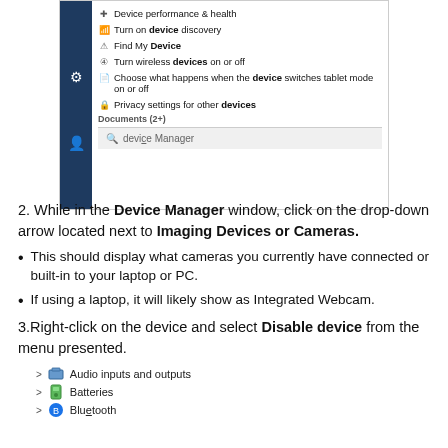[Figure (screenshot): Windows search menu showing device-related options including Device performance & health, Turn on device discovery, Find My Device, Turn wireless devices on or off, Choose what happens when the device switches tablet mode on or off, Privacy settings for other devices, Documents (2+), and a search bar with 'device Manager' typed in.]
2. While in the Device Manager window, click on the drop-down arrow located next to Imaging Devices or Cameras.
This should display what cameras you currently have connected or built-in to your laptop or PC.
If using a laptop, it will likely show as Integrated Webcam.
3.Right-click on the device and select Disable device from the menu presented.
[Figure (screenshot): Device Manager list showing expandable entries: Audio inputs and outputs, Batteries, Bluetooth (partially visible)]